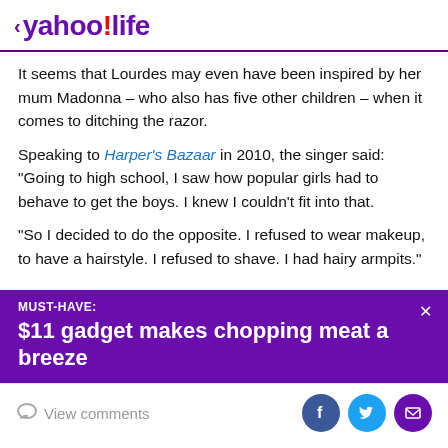< yahoo!life
It seems that Lourdes may even have been inspired by her mum Madonna – who also has five other children – when it comes to ditching the razor.
Speaking to Harper's Bazaar in 2010, the singer said: "Going to high school, I saw how popular girls had to behave to get the boys. I knew I couldn't fit into that.
"So I decided to do the opposite. I refused to wear makeup, to have a hairstyle. I refused to shave. I had hairy armpits."
[Figure (infographic): Purple advertisement banner reading MUST-HAVE: $11 gadget makes chopping meat a breeze with an X close button]
View comments | Facebook | Twitter | Email